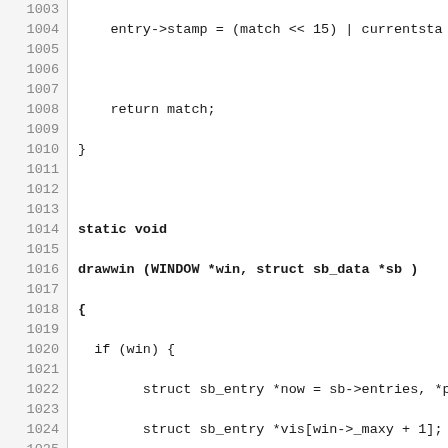Source code listing lines 1003-1032 showing C code for drawwin function with scrollback buffer logic